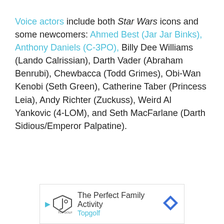Voice actors include both Star Wars icons and some newcomers: Ahmed Best (Jar Jar Binks), Anthony Daniels (C-3PO), Billy Dee Williams (Lando Calrissian), Darth Vader (Abraham Benrubi), Chewbacca (Todd Grimes), Obi-Wan Kenobi (Seth Green), Catherine Taber (Princess Leia), Andy Richter (Zuckuss), Weird Al Yankovic (4-LOM), and Seth MacFarlane (Darth Sidious/Emperor Palpatine).
[Figure (other): Advertisement banner for Topgolf: 'The Perfect Family Activity' with Topgolf logo and navigation arrow icon]